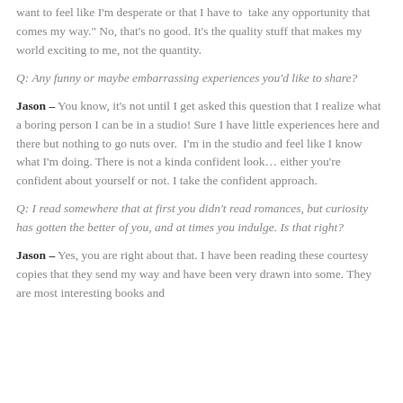want to feel like I'm desperate or that I have to  take any opportunity that comes my way." No, that's no good. It's the quality stuff that makes my world exciting to me, not the quantity.
Q: Any funny or maybe embarrassing experiences you'd like to share?
Jason – You know, it's not until I get asked this question that I realize what a boring person I can be in a studio! Sure I have little experiences here and there but nothing to go nuts over.  I'm in the studio and feel like I know what I'm doing. There is not a kinda confident look… either you're confident about yourself or not. I take the confident approach.
Q: I read somewhere that at first you didn't read romances, but curiosity has gotten the better of you, and at times you indulge. Is that right?
Jason – Yes, you are right about that. I have been reading these courtesy copies that they send my way and have been very drawn into some. They are most interesting books and